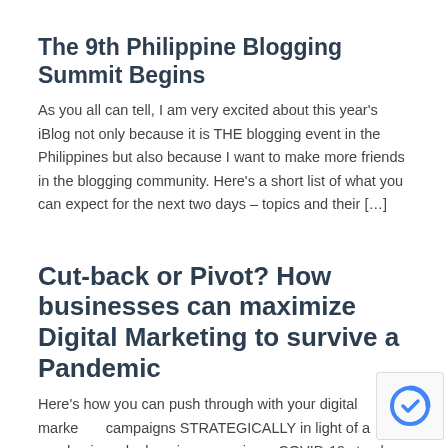The 9th Philippine Blogging Summit Begins
As you all can tell, I am very excited about this year's iBlog not only because it is THE blogging event in the Philippines but also because I want to make more friends in the blogging community. Here's a short list of what you can expect for the next two days – topics and their […]
Cut-back or Pivot? How businesses can maximize Digital Marketing to survive a Pandemic
Here's how you can push through with your digital marketing campaigns STRATEGICALLY in light of a pandemic and a looming recession.   COVID-19 struck the world early in 2020 and it has so far affected major economic superpowers